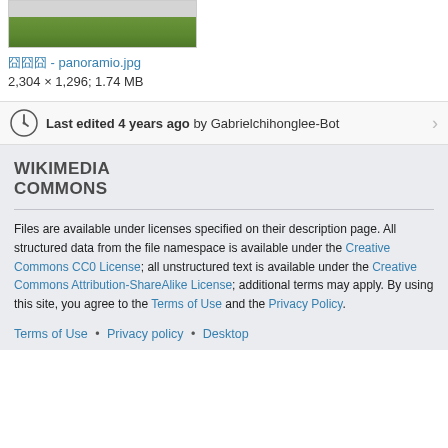[Figure (photo): Partial view of a panoramic landscape photo (green/nature scene) shown at top of page]
囧囧囧 - panoramio.jpg
2,304 × 1,296; 1.74 MB
Last edited 4 years ago by Gabrielchihonglee-Bot
WIKIMEDIA COMMONS
Files are available under licenses specified on their description page. All structured data from the file namespace is available under the Creative Commons CC0 License; all unstructured text is available under the Creative Commons Attribution-ShareAlike License; additional terms may apply. By using this site, you agree to the Terms of Use and the Privacy Policy.
Terms of Use • Privacy policy • Desktop